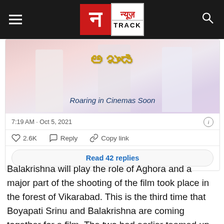न्यूज़ TRACK
[Figure (screenshot): Tweet screenshot showing Akhanda movie promotional image with text 'Roaring in Cinemas Soon', timestamp 7:19 AM · Oct 5, 2021, likes 2.6K, Reply, Copy link, and Read 42 replies button]
Balakrishna will play the role of Aghora and a major part of the shooting of the film took place in the forest of Vikarabad. This is the third time that Boyapati Srinu and Balakrishna are coming together for a film. The two had earlier teamed up for Simha